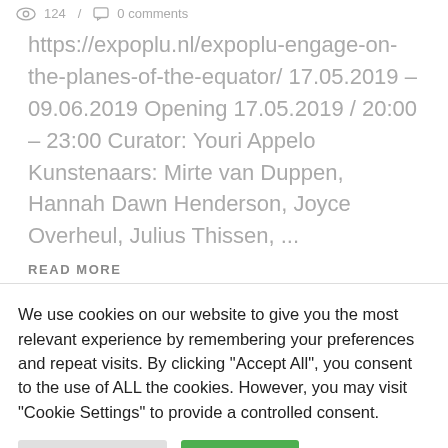124 / 0 comments
https://expoplu.nl/expoplu-engage-on-the-planes-of-the-equator/ 17.05.2019 – 09.06.2019 Opening 17.05.2019 / 20:00 – 23:00 Curator: Youri Appelo Kunstenaars: Mirte van Duppen, Hannah Dawn Henderson, Joyce Overheul, Julius Thissen, ...
READ MORE
We use cookies on our website to give you the most relevant experience by remembering your preferences and repeat visits. By clicking "Accept All", you consent to the use of ALL the cookies. However, you may visit "Cookie Settings" to provide a controlled consent.
Cookie Settings
Accept All